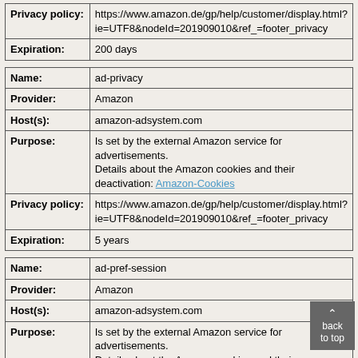| Privacy policy: | https://www.amazon.de/gp/help/customer/display.html?ie=UTF8&nodeId=201909010&ref_=footer_privacy |
| Expiration: | 200 days |
| Name: | ad-privacy |
| Provider: | Amazon |
| Host(s): | amazon-adsystem.com |
| Purpose: | Is set by the external Amazon service for advertisements.
Details about the Amazon cookies and their deactivation: Amazon-Cookies |
| Privacy policy: | https://www.amazon.de/gp/help/customer/display.html?ie=UTF8&nodeId=201909010&ref_=footer_privacy |
| Expiration: | 5 years |
| Name: | ad-pref-session |
| Provider: | Amazon |
| Host(s): | amazon-adsystem.com |
| Purpose: | Is set by the external Amazon service for advertisements.
Details about the Amazon cookies and their deactivation: Amazon-Cookies |
| Privacy policy: | https://www.amazon.de/gp/help/customer/display.html?ie=UTF8&nodeId=201909010&ref_=footer_privacy |
| Expiration: | browser session |